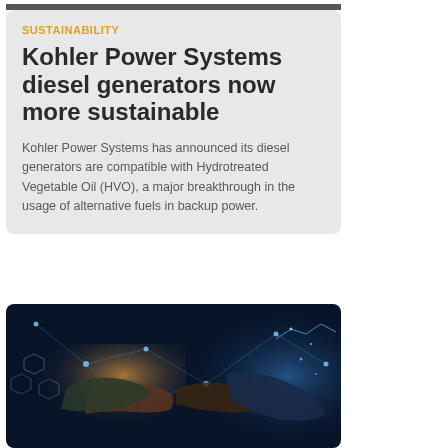[Figure (photo): Top portion of a person, partially visible at the top of the page]
SUSTAINABILITY
Kohler Power Systems diesel generators now more sustainable
Kohler Power Systems has announced its diesel generators are compatible with Hydrotreated Vegetable Oil (HVO), a major breakthrough in the usage of alternative fuels in backup power.
[Figure (photo): Two people shaking hands with a digital network/city overlay in blue tones]